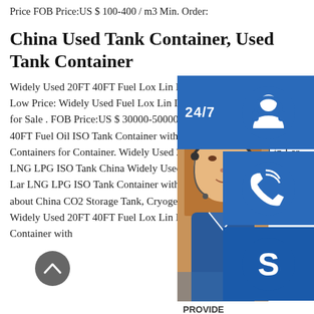Price FOB Price:US $ 100-400 / m3 Min. Order:
China Used Tank Container, Used Tank Container
Widely Used 20FT 40FT Fuel Lox Lin LPG ISO Tank Container with Low Price: Widely Used Fuel Lox Lin Lar 40FT ISO Tank Container for Sale . FOB Price:US $ 30000-50000 / Piece Widely Used 20FT 40FT Fuel Oil ISO Tank Container with Low Price, ISO Tank Containers for Container. Widely Used 20FT 40FT Fuel Lox Lin Lar LNG LPG ISO Tank China Widely Used 20FT 40FT Fuel Lox Lin Lar LNG LPG ISO Tank Container with Low Price, Find details about China CO2 Storage Tank, Cryogenic Storage Tank from Widely Used 20FT 40FT Fuel Lox Lin Lar LNG LPG ISO Tank Container with
[Figure (screenshot): Customer service overlay UI with headphone icon, phone icon, Skype icon, online live button, and a photo of a customer service agent with headset. Includes 24/7 label.]